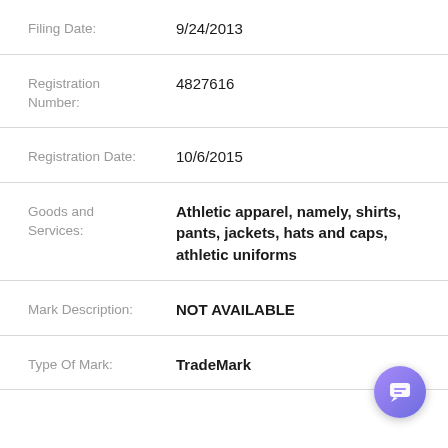Filing Date: 9/24/2013
Registration Number: 4827616
Registration Date: 10/6/2015
Goods and Services: Athletic apparel, namely, shirts, pants, jackets, hats and caps, athletic uniforms
Mark Description: NOT AVAILABLE
Type Of Mark: TradeMark